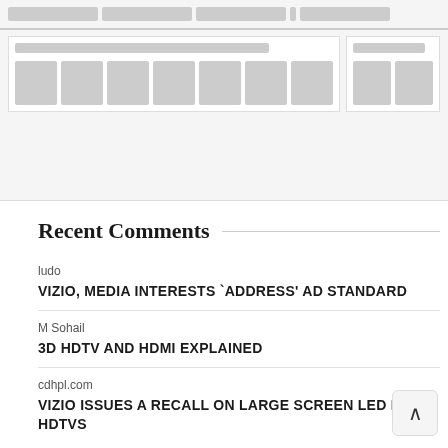[Figure (screenshot): Website screenshot placeholder showing navigation bar with grey blocks and a content area with thumbnail images on left and right panels]
Recent Comments
ludo
VIZIO, MEDIA INTERESTS `ADDRESS' AD STANDARD
M Sohail
3D HDTV AND HDMI EXPLAINED
cdhpl.com
VIZIO ISSUES A RECALL ON LARGE SCREEN LED LCD HDTVS